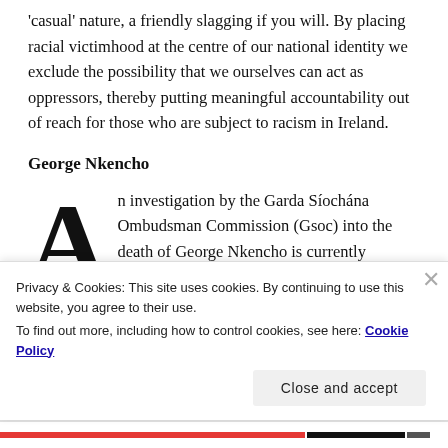'casual' nature, a friendly slagging if you will. By placing racial victimhood at the centre of our national identity we exclude the possibility that we ourselves can act as oppressors, thereby putting meaningful accountability out of reach for those who are subject to racism in Ireland.
George Nkencho
An investigation by the Garda Síochána Ombudsman Commission (Gsoc) into the death of George Nkencho is currently underway. Groups such as Black and Irish
Privacy & Cookies: This site uses cookies. By continuing to use this website, you agree to their use.
To find out more, including how to control cookies, see here: Cookie Policy
Close and accept